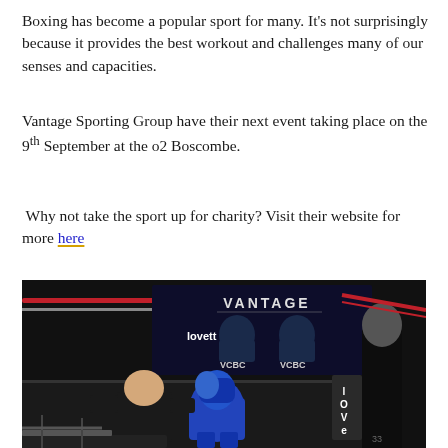Boxing has become a popular sport for many. It's not surprisingly because it provides the best workout and challenges many of our senses and capacities.
Vantage Sporting Group have their next event taking place on the 9th September at the o2 Boscombe.
Why not take the sport up for charity? Visit their website for more here
[Figure (photo): Boxing match scene at a Vantage Sporting Group event. Two fighters in a boxing ring — one in blue gear, another in dark clothing — with a backdrop display showing 'VANTAGE', 'lovett', 'VCBC' text and face portraits. A 'love' sign visible on the right side.]